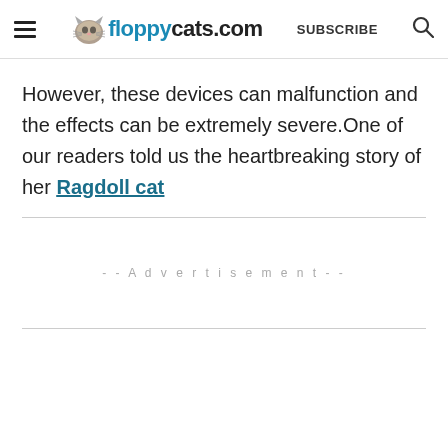floppycats.com  SUBSCRIBE
However, these devices can malfunction and the effects can be extremely severe.One of our readers told us the heartbreaking story of her Ragdoll cat
--Advertisement--